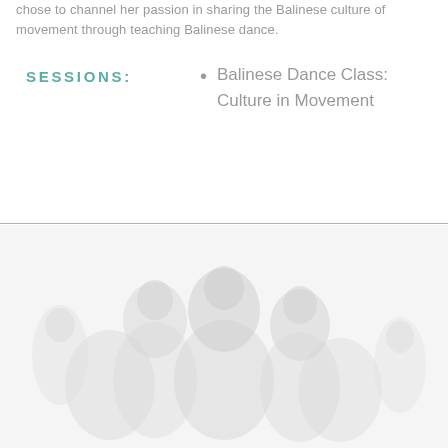chose to channel her passion in sharing the Balinese culture of movement through teaching Balinese dance.
SESSIONS:
Balinese Dance Class: Culture in Movement
[Figure (photo): Faded/watermark-style photo of people, likely dancers, in a light grey-white washed out style]